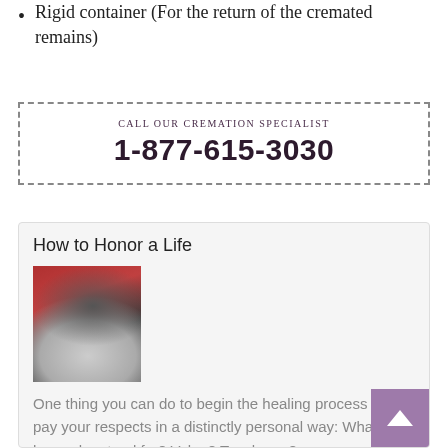Rigid container (For the return of the cremated remains)
CALL OUR CREMATION SPECIALIST
1-877-615-3030
How to Honor a Life
[Figure (photo): A person in military dress uniform with white gloves, appears to be at a formal ceremony]
One thing you can do to begin the healing process is to pay your respects in a distinctly personal way: What did he or she stand for? Value? Teach you?